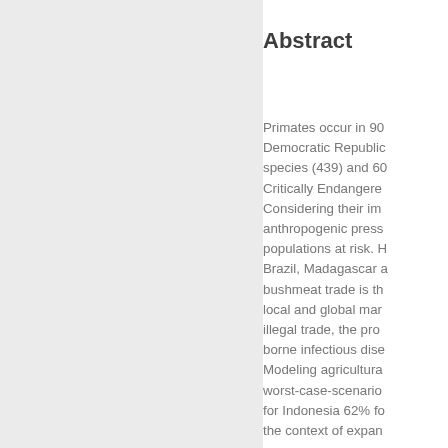Abstract
Primates occur in 90 Democratic Republic species (439) and 60 Critically Endangere Considering their im anthropogenic press populations at risk. H Brazil, Madagascar a bushmeat trade is th local and global mar illegal trade, the pro borne infectious dise Modeling agricultura worst-case-scenario for Indonesia 62% fo the context of expan